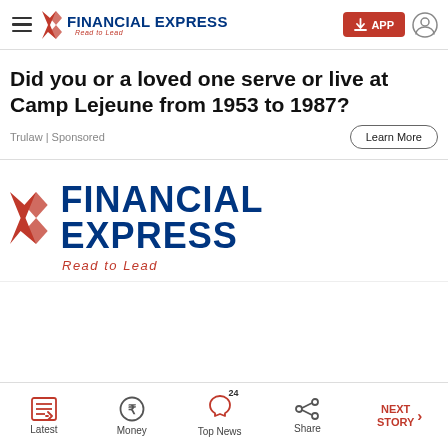FINANCIAL EXPRESS – Read to Lead
Did you or a loved one serve or live at Camp Lejeune from 1953 to 1987?
Trulaw | Sponsored
[Figure (logo): Financial Express logo with tagline 'Read to Lead' – large version in main content area]
Latest | Money | Top News (24) | Share | NEXT STORY